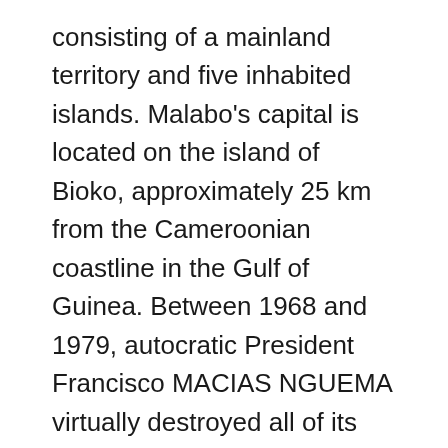consisting of a mainland territory and five inhabited islands. Malabo's capital is located on the island of Bioko, approximately 25 km from the Cameroonian coastline in the Gulf of Guinea. Between 1968 and 1979, autocratic President Francisco MACIAS NGUEMA virtually destroyed all of its political, economic, and social institutions before being deposed by his nephew Teodoro OBIANG NGUEMA MBASOGO in a coup. President OBIANG has ruled since October 1979 and was re-elected in 2016. Although nominally a constitutional democracy since 1991, presidential and legislative elections since 1996 have generally been labeled as flawed.